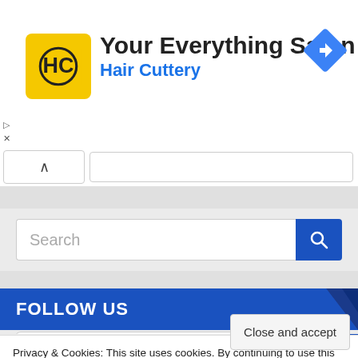[Figure (screenshot): Hair Cuttery advertisement banner showing logo and 'Your Everything Salon' text with navigation icon]
Your Everything Salon
Hair Cuttery
Search
FOLLOW US
Privacy & Cookies: This site uses cookies. By continuing to use this website, you agree to their use.
To find out more, including how to control cookies, see here: Cookie Policy
Close and accept
pressrelease.cc/2022/08/2